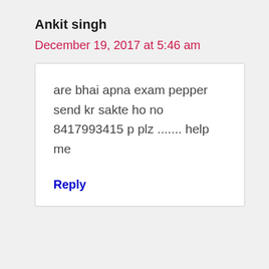Ankit singh
December 19, 2017 at 5:46 am
are bhai apna exam pepper send kr sakte ho no 8417993415 p plz ....... help me
Reply